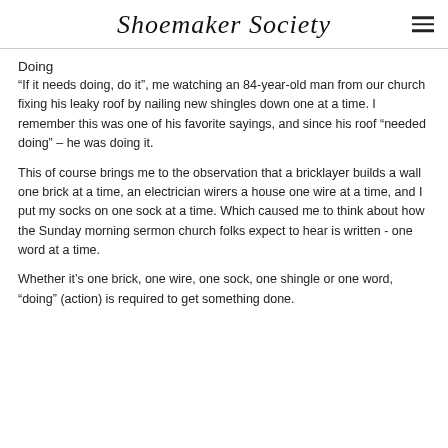Shoemaker Society
Doing
“If it needs doing, do it”, me watching an 84-year-old man from our church fixing his leaky roof by nailing new shingles down one at a time. I remember this was one of his favorite sayings, and since his roof “needed doing” – he was doing it.
This of course brings me to the observation that a bricklayer builds a wall one brick at a time, an electrician wirers a house one wire at a time, and I put my socks on one sock at a time. Which caused me to think about how the Sunday morning sermon church folks expect to hear is written - one word at a time.
Whether it’s one brick, one wire, one sock, one shingle or one word, “doing” (action) is required to get something done.